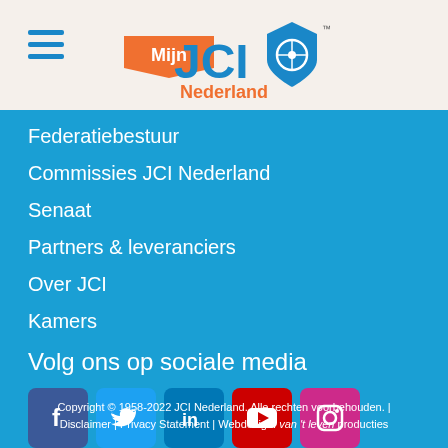[Figure (logo): Mijn JCI Nederland logo with hamburger menu icon]
Federatiebestuur
Commissies JCI Nederland
Senaat
Partners & leveranciers
Over JCI
Kamers
Volg ons op sociale media
[Figure (illustration): Social media icons: Facebook, Twitter, LinkedIn, YouTube, Instagram]
Copyright © 1958-2022 JCI Nederland. Alle rechten voorbehouden. | Disclaimer | Privacy Statement | Webdesign: van 't leven producties